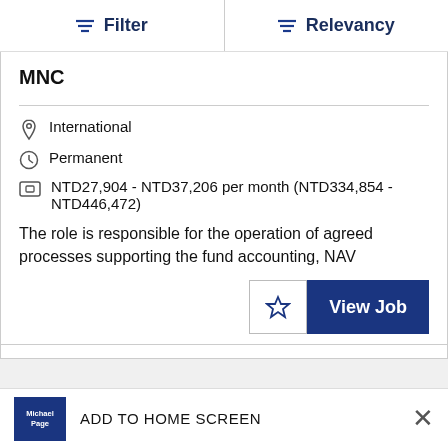Filter | Relevancy
MNC
International
Permanent
NTD27,904 - NTD37,206 per month (NTD334,854 - NTD446,472)
The role is responsible for the operation of agreed processes supporting the fund accounting, NAV
ADD TO HOME SCREEN